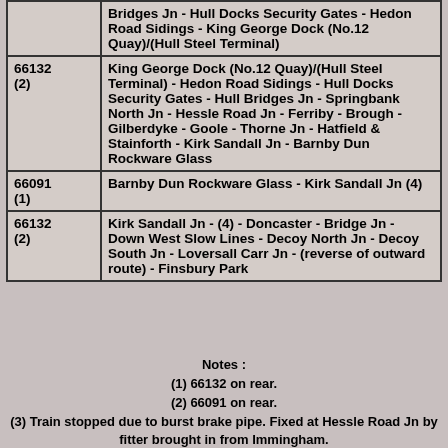| Loco | Route |
| --- | --- |
|  | Bridges Jn - Hull Docks Security Gates - Hedon Road Sidings - King George Dock (No.12 Quay)/(Hull Steel Terminal) |
| 66132 (2) | King George Dock (No.12 Quay)/(Hull Steel Terminal) - Hedon Road Sidings - Hull Docks Security Gates - Hull Bridges Jn - Springbank North Jn - Hessle Road Jn - Ferriby - Brough - Gilberdyke - Goole - Thorne Jn - Hatfield & Stainforth - Kirk Sandall Jn - Barnby Dun Rockware Glass |
| 66091 (1) | Barnby Dun Rockware Glass - Kirk Sandall Jn (4) |
| 66132 (2) | Kirk Sandall Jn - (4) - Doncaster - Bridge Jn - Down West Slow Lines - Decoy North Jn - Decoy South Jn - Loversall Carr Jn - (reverse of outward route) - Finsbury Park |
Notes :
(1) 66132 on rear.
(2) 66091 on rear.
(3) Train stopped due to burst brake pipe. Fixed at Hessle Road Jn by fitter brought in from Immingham.
(4) After Barnby Dun, was supposed to continue to Hatfield & Stainforth to reverse then travel via Thorpe Marsh Jn - Applehurst Jn - Skellow Jn - Carcroft Jn & Adwick to